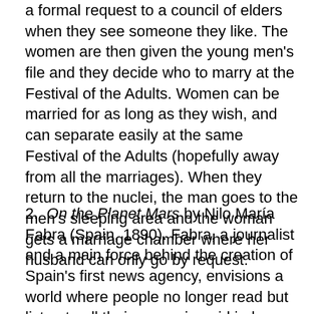a formal request to a council of elders when they see someone they like. The women are then given the young men's file and they decide who to marry at the Festival of the Adults. Women can be married for as long as they wish, and can separate easily at the same Festival of the Adults (hopefully away from all the marriages). When they return to the nuclei, the man goes to the men's sleeping area and the woman gets a marriage chamber where her husband can only go by request.
2.  On the Planet Mars by Nilo María Fabra (Spain, 1890). Fabra, a journalist and a main force behind the creation of Spain's first news agency, envisions a world where people no longer read but listen to all their news via paid in-home or street phonographs. People no longer write, but communicate via telephone. Only diplomats are taught to read and write. All streets are moving platforms at different